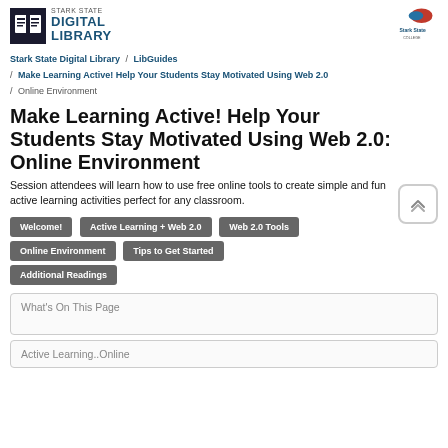[Figure (logo): Stark State Digital Library logo with book icon on left and Stark State College logo on right]
Stark State Digital Library / LibGuides / Make Learning Active! Help Your Students Stay Motivated Using Web 2.0 / Online Environment
Make Learning Active! Help Your Students Stay Motivated Using Web 2.0: Online Environment
Session attendees will learn how to use free online tools to create simple and fun active learning activities perfect for any classroom.
Welcome!
Active Learning + Web 2.0
Web 2.0 Tools
Online Environment
Tips to Get Started
Additional Readings
What's On This Page
Active Learning..Online